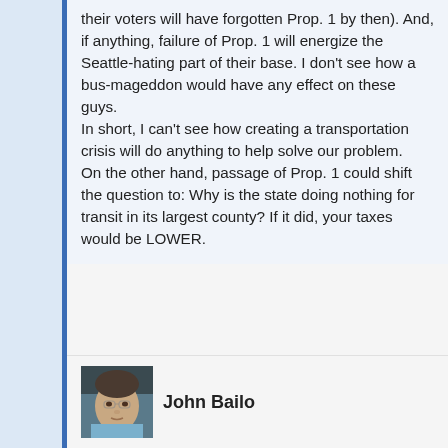their voters will have forgotten Prop. 1 by then). And, if anything, failure of Prop. 1 will energize the Seattle-hating part of their base. I don't see how a bus-mageddon would have any effect on these guys.
In short, I can't see how creating a transportation crisis will do anything to help solve our problem.
On the other hand, passage of Prop. 1 could shift the question to: Why is the state doing nothing for transit in its largest county? If it did, your taxes would be LOWER.
John Bailo